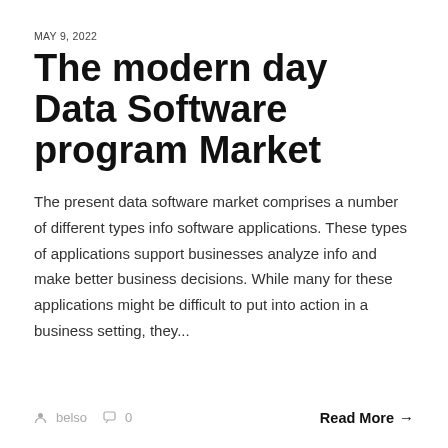MAY 9, 2022
The modern day Data Software program Market
The present data software market comprises a number of different types info software applications. These types of applications support businesses analyze info and make better business decisions. While many for these applications might be difficult to put into action in a business setting, they...
belso  0  Read More →